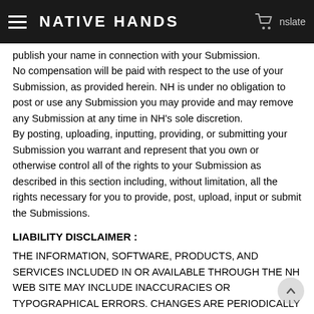NATIVE HANDS
publish your name in connection with your Submission.
No compensation will be paid with respect to the use of your Submission, as provided herein. NH is under no obligation to post or use any Submission you may provide and may remove any Submission at any time in NH's sole discretion.
By posting, uploading, inputting, providing, or submitting your Submission you warrant and represent that you own or otherwise control all of the rights to your Submission as described in this section including, without limitation, all the rights necessary for you to provide, post, upload, input or submit the Submissions.
LIABILITY DISCLAIMER :
THE INFORMATION, SOFTWARE, PRODUCTS, AND SERVICES INCLUDED IN OR AVAILABLE THROUGH THE NH WEB SITE MAY INCLUDE INACCURACIES OR TYPOGRAPHICAL ERRORS. CHANGES ARE PERIODICALLY ADDED TO THE